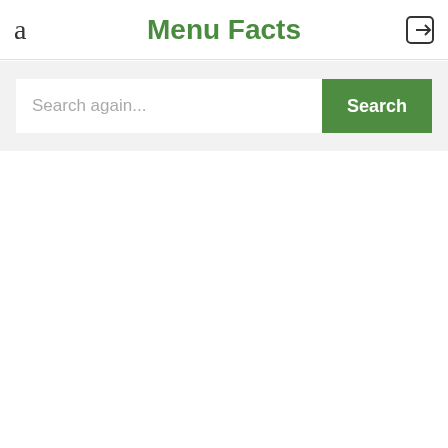a  Menu Facts  [login icon]
Search again...
Search